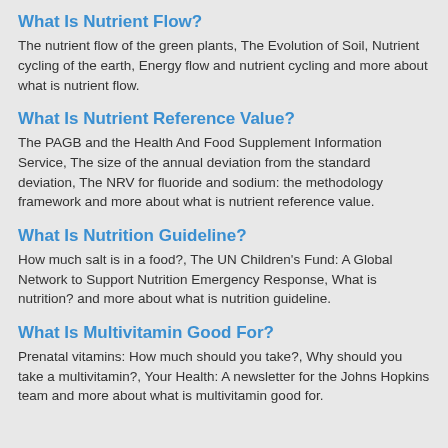What Is Nutrient Flow?
The nutrient flow of the green plants, The Evolution of Soil, Nutrient cycling of the earth, Energy flow and nutrient cycling and more about what is nutrient flow.
What Is Nutrient Reference Value?
The PAGB and the Health And Food Supplement Information Service, The size of the annual deviation from the standard deviation, The NRV for fluoride and sodium: the methodology framework and more about what is nutrient reference value.
What Is Nutrition Guideline?
How much salt is in a food?, The UN Children's Fund: A Global Network to Support Nutrition Emergency Response, What is nutrition? and more about what is nutrition guideline.
What Is Multivitamin Good For?
Prenatal vitamins: How much should you take?, Why should you take a multivitamin?, Your Health: A newsletter for the Johns Hopkins team and more about what is multivitamin good for.